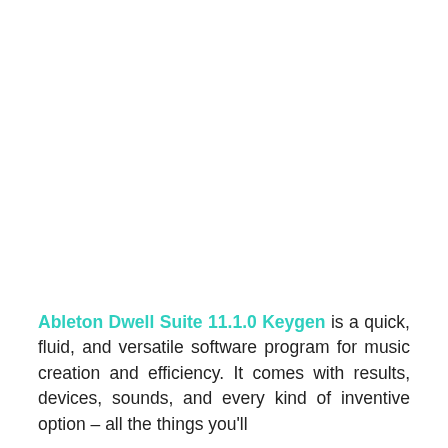Ableton Dwell Suite 11.1.0 Keygen is a quick, fluid, and versatile software program for music creation and efficiency. It comes with results, devices, sounds, and every kind of inventive option – all the things you'll need to create music for any situation. See how it